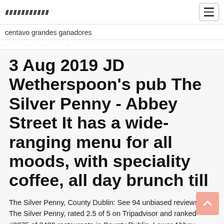centavo grandes ganadores
3 Aug 2019 JD Wetherspoon's pub The Silver Penny - Abbey Street It has a wide-ranging menu for all moods, with speciality coffee, all day brunch till
The Silver Penny, County Dublin: See 94 unbiased reviews of The Silver Penny, rated 2.5 of 5 on Tripadvisor and ranked #3075 of 3439 restaurants in County Dublin. Lower Abbey Street, Ireland. + Add phone number · + Add website. Reviews